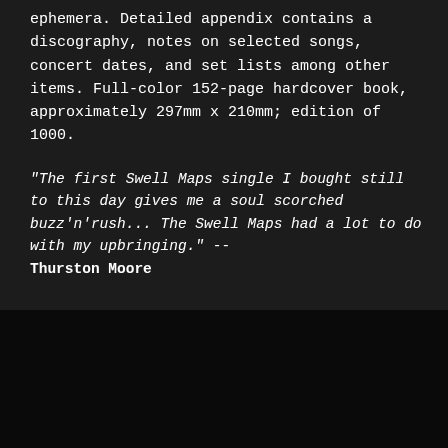ephemera. Detailed appendix contains a discography, notes on selected songs, concert dates, and set lists among other items. Full-color 152-page hardcover book, approximately 297mm x 210mm; edition of 1000.
"The first Swell Maps single I bought still to this day gives me a soul scorched buzz'n'rush... The Swell Maps had a lot to do with my upbringing." -- Thurston Moore